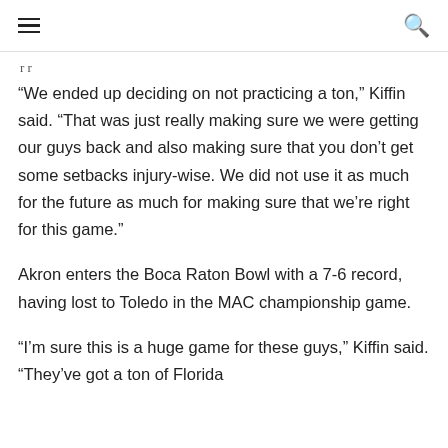☰  🔍
r r
“We ended up deciding on not practicing a ton,” Kiffin said. “That was just really making sure we were getting our guys back and also making sure that you don’t get some setbacks injury-wise. We did not use it as much for the future as much for making sure that we’re right for this game.”
Akron enters the Boca Raton Bowl with a 7-6 record, having lost to Toledo in the MAC championship game.
“I’m sure this is a huge game for these guys,” Kiffin said. “They’ve got a ton of Florida